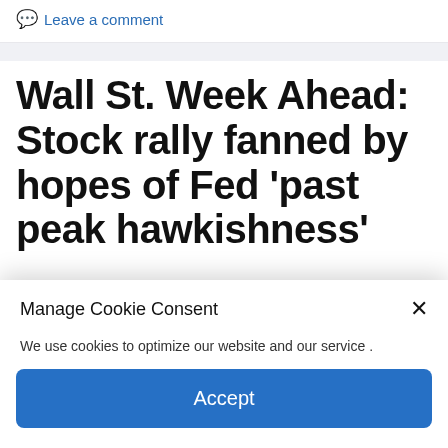Leave a comment
Wall St. Week Ahead: Stock rally fanned by hopes of Fed ‘past peak hawkishness’
Manage Cookie Consent
We use cookies to optimize our website and our service .
Accept